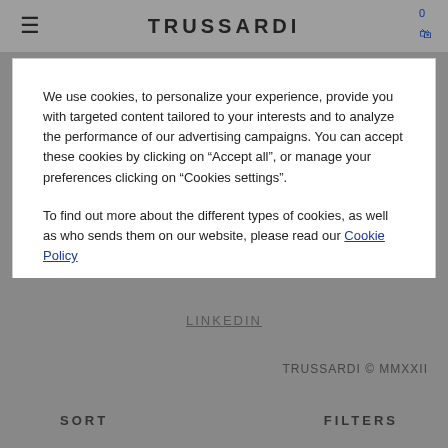TRUSSARDI
We use cookies, to personalize your experience, provide you with targeted content tailored to your interests and to analyze the performance of our advertising campaigns. You can accept these cookies by clicking on “Accept all”, or manage your preferences clicking on “Cookies settings”.
To find out more about the different types of cookies, as well as who sends them on our website, please read our Cookie Policy
Reject All
Accept All
Cookies Settings
LINKEDIN
TRUSSARDI © MMXXII
SORT
FILTERS